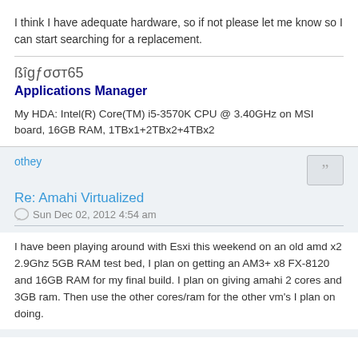I think I have adequate hardware, so if not please let me know so I can start searching for a replacement.
ßîgƒσσт65
Applications Manager
My HDA: Intel(R) Core(TM) i5-3570K CPU @ 3.40GHz on MSI board, 16GB RAM, 1TBx1+2TBx2+4TBx2
othey
Re: Amahi Virtualized
Sun Dec 02, 2012 4:54 am
I have been playing around with Esxi this weekend on an old amd x2 2.9Ghz 5GB RAM test bed, I plan on getting an AM3+ x8 FX-8120 and 16GB RAM for my final build. I plan on giving amahi 2 cores and 3GB ram. Then use the other cores/ram for the other vm's I plan on doing.